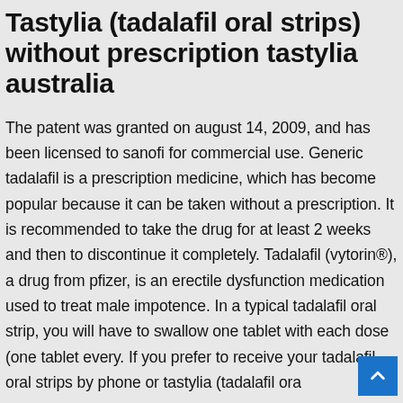Tastylia (tadalafil oral strips) without prescription tastylia australia
The patent was granted on august 14, 2009, and has been licensed to sanofi for commercial use. Generic tadalafil is a prescription medicine, which has become popular because it can be taken without a prescription. It is recommended to take the drug for at least 2 weeks and then to discontinue it completely. Tadalafil (vytorin®), a drug from pfizer, is an erectile dysfunction medication used to treat male impotence. In a typical tadalafil oral strip, you will have to swallow one tablet with each dose (one tablet every. If you prefer to receive your tadalafil oral strips by phone or tastylia (tadalafil oral…